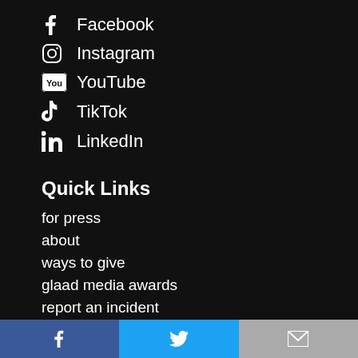Facebook
Instagram
YouTube
TikTok
LinkedIn
Quick Links
for press
about
ways to give
glaad media awards
report an incident
Facebook | Twitter | Email